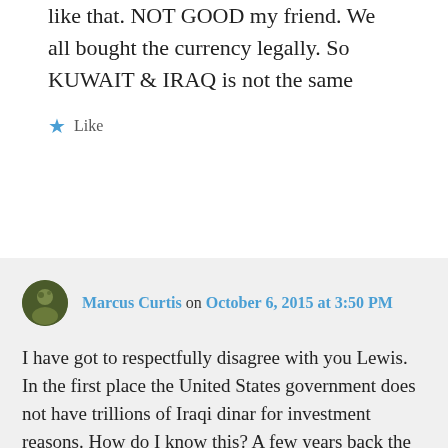like that. NOT GOOD my friend. We all bought the currency legally. So KUWAIT & IRAQ is not the same
★ Like
Marcus Curtis on October 6, 2015 at 3:50 PM
I have got to respectfully disagree with you Lewis. In the first place the United States government does not have trillions of Iraqi dinar for investment reasons. How do I know this? A few years back the government arrested and prosecuted the B.H. Group for their involvement with the dinar and operating a fictitious hedge fund. If you read through the indictment you will